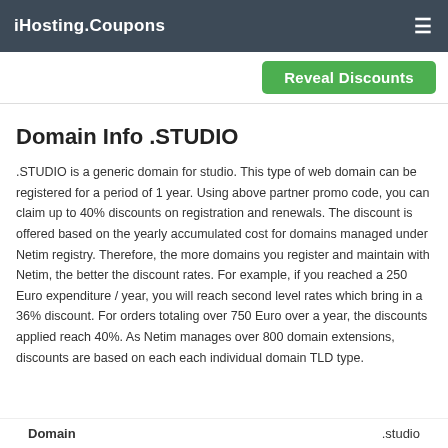iHosting.Coupons
[Figure (other): Reveal Discounts green button]
Domain Info .STUDIO
.STUDIO is a generic domain for studio. This type of web domain can be registered for a period of 1 year. Using above partner promo code, you can claim up to 40% discounts on registration and renewals. The discount is offered based on the yearly accumulated cost for domains managed under Netim registry. Therefore, the more domains you register and maintain with Netim, the better the discount rates. For example, if you reached a 250 Euro expenditure / year, you will reach second level rates which bring in a 36% discount. For orders totaling over 750 Euro over a year, the discounts applied reach 40%. As Netim manages over 800 domain extensions, discounts are based on each each individual domain TLD type.
Domain    .studio